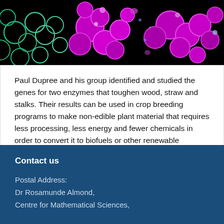[Figure (photo): Microscopy image of plant cell cross-sections with magenta/pink fluorescent cell walls on a black background, showing hexagonal cell structures]
Paul Dupree and his group identified and studied the genes for two enzymes that toughen wood, straw and stalks. Their results can be used in crop breeding programs to make non-edible plant material that requires less processing, less energy and fewer chemicals in order to convert it to biofuels or other renewable products.
Read an article about this on the University News website
Contact us
Postal Address:
Dr Rosamunde Almond,
Centre for Mathematical Sciences,